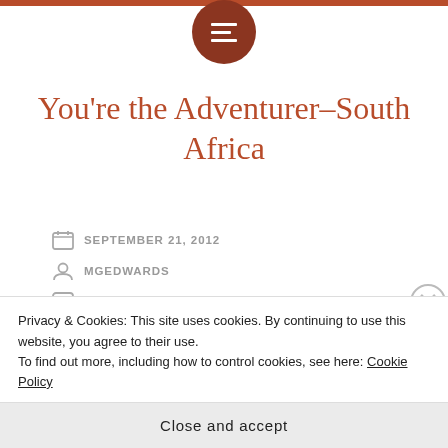You're the Adventurer–South Africa
SEPTEMBER 21, 2012
MGEDWARDS
12 COMMENTS
Rate This
Welcome to an interactive online story. You've been a
Privacy & Cookies: This site uses cookies. By continuing to use this website, you agree to their use.
To find out more, including how to control cookies, see here: Cookie Policy
Close and accept